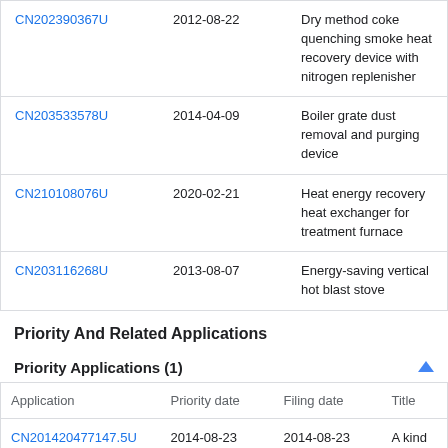| CN202390367U | 2012-08-22 | Dry method coke quenching smoke heat recovery device with nitrogen replenisher |
| CN203533578U | 2014-04-09 | Boiler grate dust removal and purging device |
| CN210108076U | 2020-02-21 | Heat energy recovery heat exchanger for treatment furnace |
| CN203116268U | 2013-08-07 | Energy-saving vertical hot blast stove |
Priority And Related Applications
Priority Applications (1)
| Application | Priority date | Filing date | Title |
| --- | --- | --- | --- |
| CN201420477147.5U | 2014-08-23 | 2014-08-23 | A kind of waste gas residual |